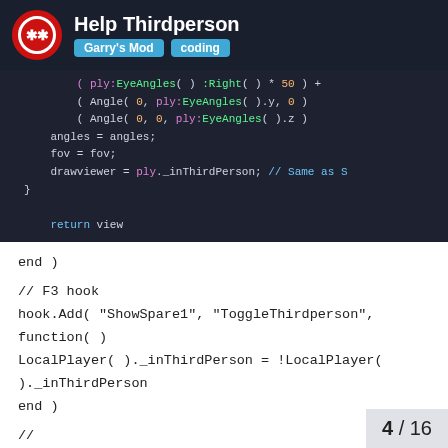Help Thirdperson | Garry's Mod | coding
[Figure (screenshot): Code editor screenshot showing Lua code with syntax highlighting: EyeAngles, Angle, angles, fov, drawviewer, return view lines]
end )
// F3 hook
hook.Add( "ShowSpare1", "ToggleThirdperson", function( )
LocalPlayer( )._inThirdPerson = !LocalPlayer(
)._inThirdPerson
end )
//
hook.Add( "HUDPaint", "3DCrossHair", function( )
local ply = LocalPlayer( );
4 / 16